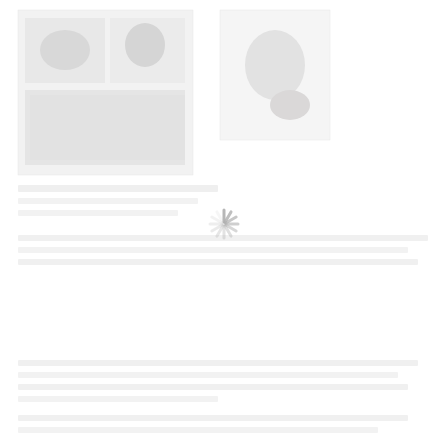[Figure (photo): Loading spinner icon centered on a mostly white page with faded/blurred background content including images and text that is still loading.]